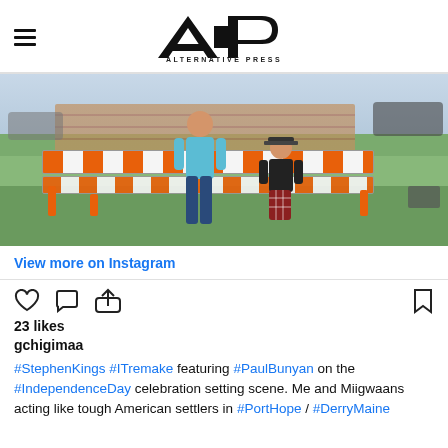Alternative Press
[Figure (photo): Two people standing in a grassy outdoor area with orange and white road construction barriers behind them. Buildings and cars visible in background.]
View more on Instagram
23 likes
gchigimaa
#StephenKings #ITremake featuring #PaulBunyan on the #IndependenceDay celebration setting scene. Me and Miigwaans acting like tough American settlers in #PortHope / #DerryMaine